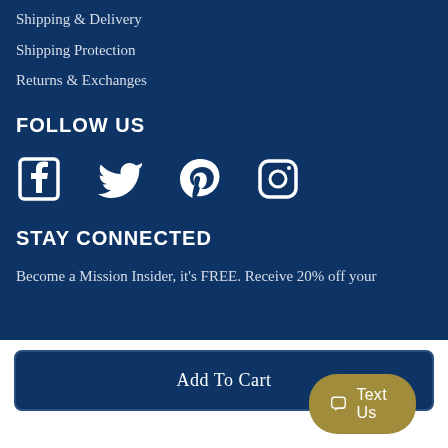Shipping & Delivery
Shipping Protection
Returns & Exchanges
FOLLOW US
[Figure (illustration): Social media icons: Facebook, Twitter, Pinterest, Instagram]
STAY CONNECTED
Become a Mission Insider, it's FREE. Receive 20% off your
Add To Cart
Text Us